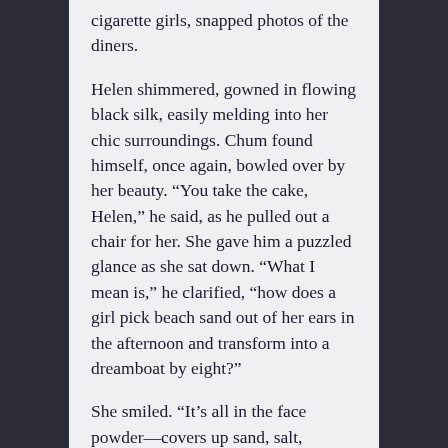cigarette girls, snapped photos of the diners.
Helen shimmered, gowned in flowing black silk, easily melding into her chic surroundings. Chum found himself, once again, bowled over by her beauty. “You take the cake, Helen,” he said, as he pulled out a chair for her. She gave him a puzzled glance as she sat down. “What I mean is,” he clarified, “how does a girl pick beach sand out of her ears in the afternoon and transform into a dreamboat by eight?”
She smiled. “It’s all in the face powder—covers up sand, salt, sunburn, bird droppings . . . the works. You know, Chum, with all this flattery, I think you ought to